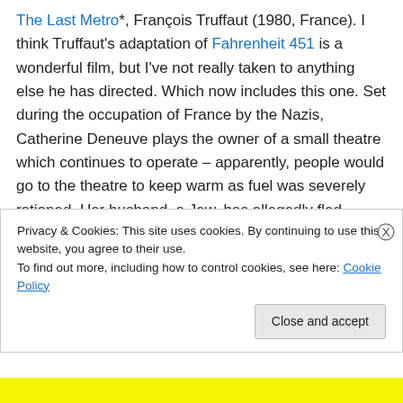The Last Metro*, François Truffaut (1980, France). I think Truffaut's adaptation of Fahrenheit 451 is a wonderful film, but I've not really taken to anything else he has directed. Which now includes this one. Set during the occupation of France by the Nazis, Catherine Deneuve plays the owner of a small theatre which continues to operate – apparently, people would go to the theatre to keep warm as fuel was severely rationed. Her husband, a Jew, has allegedly fled France, but is actually holed up in the theatre's basement. Meanwhile, Gerard Depardieu has joined the cast as the new male lead – and it all went on a bit and no
Privacy & Cookies: This site uses cookies. By continuing to use this website, you agree to their use.
To find out more, including how to control cookies, see here: Cookie Policy